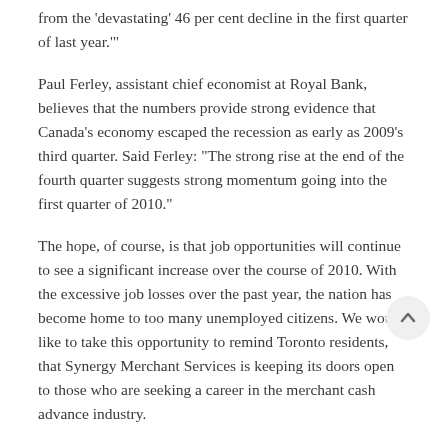from the 'devastating' 46 per cent decline in the first quarter of last year.'"
Paul Ferley, assistant chief economist at Royal Bank, believes that the numbers provide strong evidence that Canada's economy escaped the recession as early as 2009's third quarter. Said Ferley: "The strong rise at the end of the fourth quarter suggests strong momentum going into the first quarter of 2010."
The hope, of course, is that job opportunities will continue to see a significant increase over the course of 2010. With the excessive job losses over the past year, the nation has become home to too many unemployed citizens. We would like to take this opportunity to remind Toronto residents, that Synergy Merchant Services is keeping its doors open to those who are seeking a career in the merchant cash advance industry.
We encourage you to contact us at 1-866-299-0101 to discover the career opportunities offered by Synergy are right for you. Of course, we also continue to strive towards helping the Canadian economy by offering our unique merchant cash advance program to Canadian owners of small and medium-sized businesses.